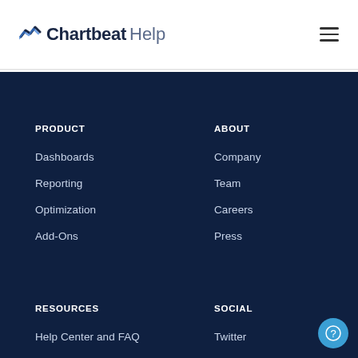Chartbeat Help
PRODUCT
Dashboards
Reporting
Optimization
Add-Ons
ABOUT
Company
Team
Careers
Press
RESOURCES
Help Center and FAQ
SOCIAL
Twitter